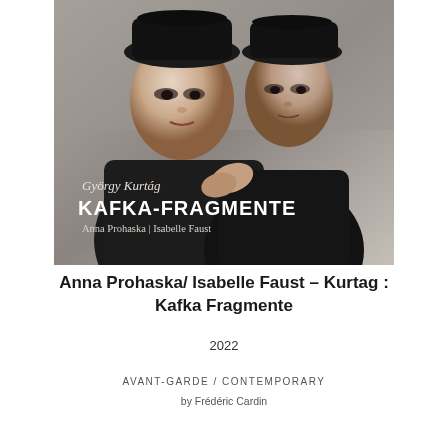[Figure (photo): Album cover for György Kurtág's Kafka-Fragmente performed by Anna Prohaska and Isabelle Faust. Two women wearing black coats and black hats pose together against a muted grey background. Text on cover reads: György Kurtág / KAFKA-FRAGMENTE / Anna Prohaska | Isabelle Faust.]
Anna Prohaska/ Isabelle Faust – Kurtag : Kafka Fragmente
2022
AVANT-GARDE / CONTEMPORARY
by Frédéric Cardin